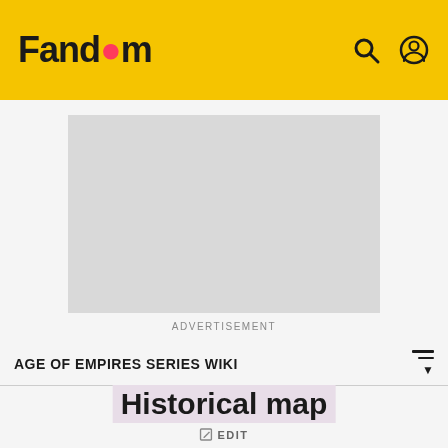Fandom
[Figure (screenshot): Gray advertisement placeholder rectangle]
ADVERTISEMENT
AGE OF EMPIRES SERIES WIKI
Historical map
EDIT